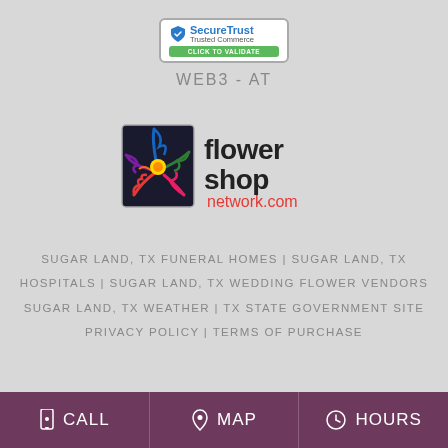[Figure (logo): SecureTrust Trusted Commerce - Click to Validate badge]
WEB3-AT
[Figure (logo): Flower Shop Network .com logo with colorful flower graphic]
SUGAR LAND, TX FUNERAL HOMES | SUGAR LAND, TX HOSPITALS | SUGAR LAND, TX WEDDING FLOWER VENDORS SUGAR LAND, TX WEATHER | TX STATE GOVERNMENT SITE PRIVACY POLICY | TERMS OF PURCHASE
CALL  MAP  HOURS